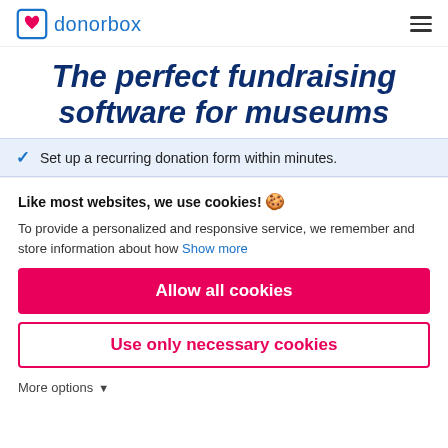donorbox
The perfect fundraising software for museums
Set up a recurring donation form within minutes.
Like most websites, we use cookies! 🍪
To provide a personalized and responsive service, we remember and store information about how  Show more
Allow all cookies
Use only necessary cookies
More options